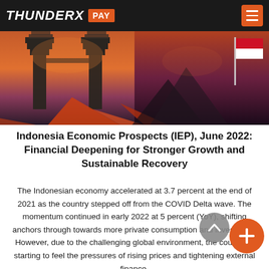THUNDERX PAY
[Figure (photo): Balinese temple gate (candi) at sunset with Indonesian flag and mountain backdrop, overlaid with orange/red graphic elements]
Indonesia Economic Prospects (IEP), June 2022: Financial Deepening for Stronger Growth and Sustainable Recovery
The Indonesian economy accelerated at 3.7 percent at the end of 2021 as the country stepped off from the COVID Delta wave. The momentum continued in early 2022 at 5 percent (YoY), shifting anchors through towards more private consumption and investment. However, due to the challenging global environment, the country is starting to feel the pressures of rising prices and tightening external finance.